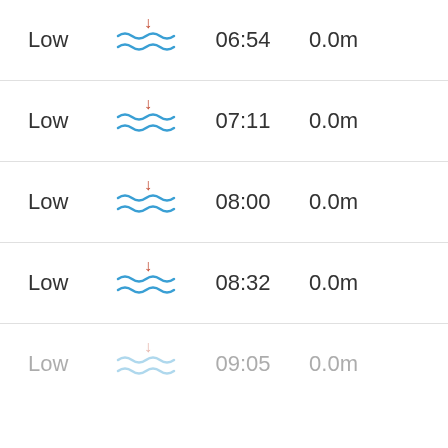Low  06:54  0.0m
Low  07:11  0.0m
Low  08:00  0.0m
Low  08:32  0.0m
Low  09:05  0.0m